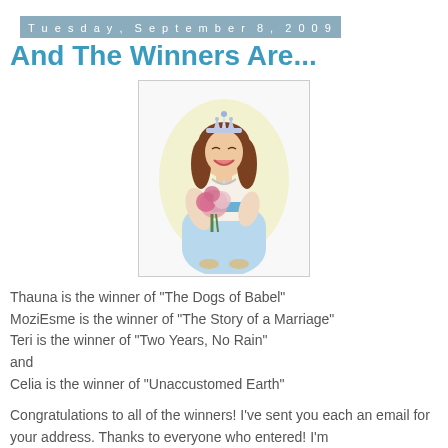Tuesday, September 8, 2009
And The Winners Are...
[Figure (illustration): Cartoon illustration of a beauty queen or winner wearing a tiara, blue dress, holding a bouquet of flowers, with a yellow cape/robe, smiling broadly.]
Thauna is the winner of "The Dogs of Babel"
MoziEsme is the winner of "The Story of a Marriage"
Teri is the winner of "Two Years, No Rain"
and
Celia is the winner of "Unaccustomed Earth"
Congratulations to all of the winners! I've sent you each an email for your address. Thanks to everyone who entered! I'm